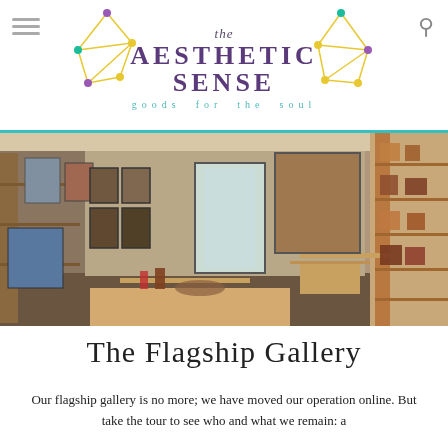[Figure (logo): The Aesthetic Sense logo with geometric line art decorations on left and right, text reading 'the AESTHETIC SENSE goods for the soul']
[Figure (photo): Interior photograph of The Aesthetic Sense flagship gallery showing art on walls, shelves with items, wooden tables with decorative objects, and a glass door entrance]
The Flagship Gallery
Our flagship gallery is no more; we have moved our operation online. But take the tour to see who and what we remain: a